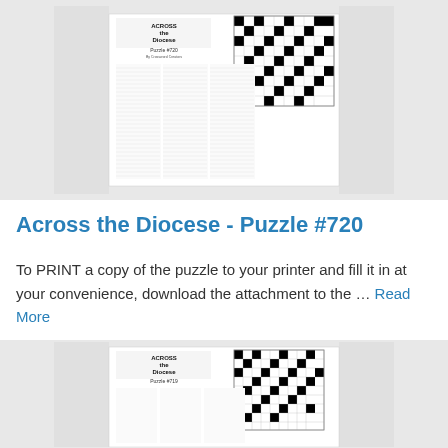[Figure (screenshot): Thumbnail image of a crossword puzzle page titled 'Across the Diocese - Puzzle #720', showing a newspaper-style crossword with clues and a partially filled black-and-white grid.]
Across the Diocese - Puzzle #720
To PRINT a copy of the puzzle to your printer and fill it in at your convenience, download the attachment to the ... Read More
[Figure (screenshot): Partial thumbnail image of another crossword puzzle page, partially visible at the bottom of the page.]